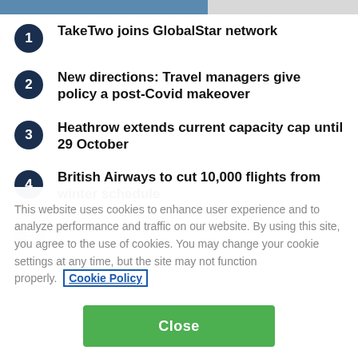1. TakeTwo joins GlobalStar network
2. New directions: Travel managers give policy a post-Covid makeover
3. Heathrow extends current capacity cap until 29 October
4. British Airways to cut 10,000 flights from winter schedule
This website uses cookies to enhance user experience and to analyze performance and traffic on our website. By using this site, you agree to the use of cookies. You may change your cookie settings at any time, but the site may not function properly. Cookie Policy
Close